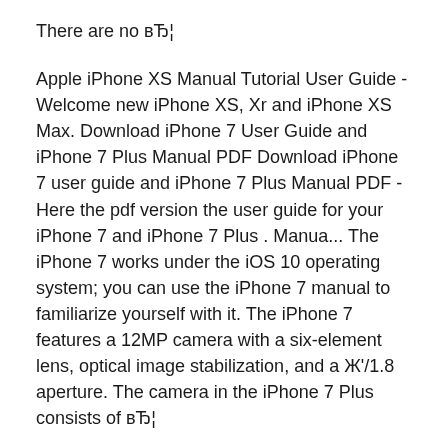There are no вЂ¦
Apple iPhone XS Manual Tutorial User Guide - Welcome new iPhone XS, Xr and iPhone XS Max. Download iPhone 7 User Guide and iPhone 7 Plus Manual PDF Download iPhone 7 user guide and iPhone 7 Plus Manual PDF - Here the pdf version the user guide for your iPhone 7 and iPhone 7 Plus . Manua... The iPhone 7 works under the iOS 10 operating system; you can use the iPhone 7 manual to familiarize yourself with it. The iPhone 7 features a 12MP camera with a six-element lens, optical image stabilization, and a Ж'/1.8 aperture. The camera in the iPhone 7 Plus consists of вЂ¦
iPhone 7 User Manual PDF User Guide for iPhone